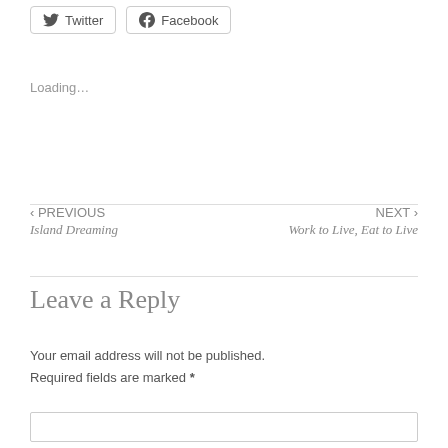[Figure (other): Twitter and Facebook social share buttons at top of page]
Loading...
‹ PREVIOUS
Island Dreaming
NEXT ›
Work to Live, Eat to Live
Leave a Reply
Your email address will not be published. Required fields are marked *